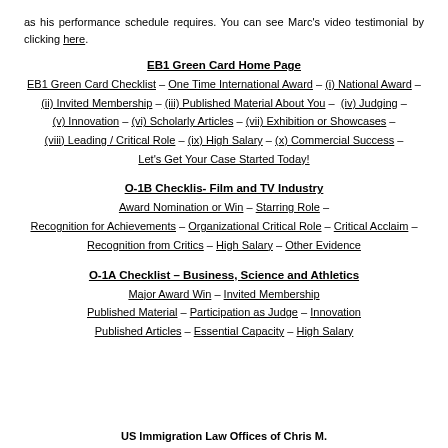as his performance schedule requires. You can see Marc's video testimonial by clicking here.
EB1 Green Card Home Page
EB1 Green Card Checklist – One Time International Award – (i) National Award – (ii) Invited Membership – (iii) Published Material About You – (iv) Judging – (v) Innovation – (vi) Scholarly Articles – (vii) Exhibition or Showcases – (viii) Leading / Critical Role – (ix) High Salary – (x) Commercial Success – Let's Get Your Case Started Today!
O-1B Checklis- Film and TV Industry
Award Nomination or Win – Starring Role – Recognition for Achievements – Organizational Critical Role – Critical Acclaim – Recognition from Critics – High Salary – Other Evidence
O-1A Checklist – Business, Science and Athletics
Major Award Win – Invited Membership Published Material – Participation as Judge – Innovation Published Articles – Essential Capacity – High Salary
US Immigration Law Offices of Chris M.